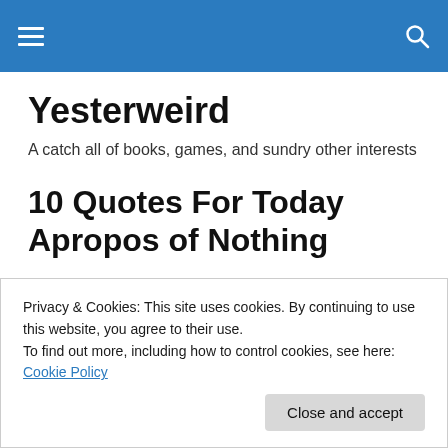Yesterweird [navigation bar with hamburger menu and search icon]
Yesterweird
A catch all of books, games, and sundry other interests
10 Quotes For Today Apropos of Nothing
1. “Do not be afraid of irreverence towards the memory of
Privacy & Cookies: This site uses cookies. By continuing to use this website, you agree to their use.
To find out more, including how to control cookies, see here: Cookie Policy
Close and accept